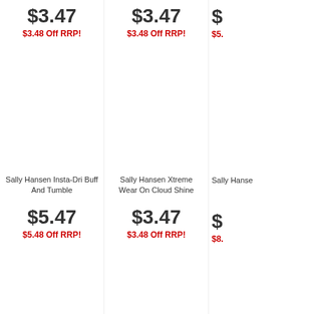$3.47
$3.48 Off RRP!
$3.47
$3.48 Off RRP!
$5.
$5.
Sally Hansen Insta-Dri Buff And Tumble
Sally Hansen Xtreme Wear On Cloud Shine
Sally Hanse
$5.47
$5.48 Off RRP!
$3.47
$3.48 Off RRP!
$8.
$8.